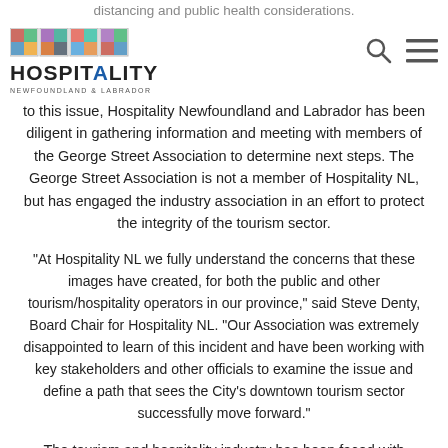distancing and public health considerations.
[Figure (logo): Hospitality Newfoundland & Labrador logo with colorful tile icons]
to this issue, Hospitality Newfoundland and Labrador has been diligent in gathering information and meeting with members of the George Street Association to determine next steps. The George Street Association is not a member of Hospitality NL, but has engaged the industry association in an effort to protect the integrity of the tourism sector.
“At Hospitality NL we fully understand the concerns that these images have created, for both the public and other tourism/hospitality operators in our province,” said Steve Denty, Board Chair for Hospitality NL. “Our Association was extremely disappointed to learn of this incident and have been working with key stakeholders and other officials to examine the issue and define a path that sees the City’s downtown tourism sector successfully move forward.”
The tourism and hospitality industry has been faced with countless issues and challenges since the arrival of COVID-19. While there have been significant milestones reached in the province’s ability to